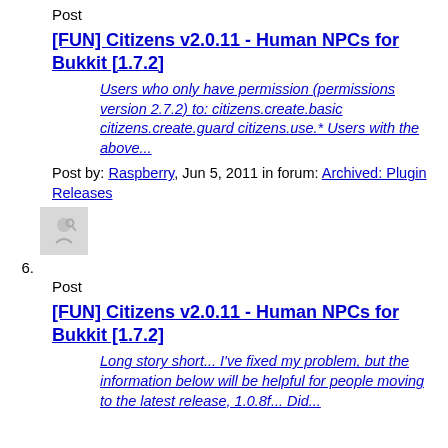Post
[FUN] Citizens v2.0.11 - Human NPCs for Bukkit [1.7.2]
Users who only have permission (permissions version 2.7.2) to: citizens.create.basic citizens.create.guard citizens.use.* Users with the above...
Post by: Raspberry, Jun 5, 2011 in forum: Archived: Plugin Releases
6.
Post
[FUN] Citizens v2.0.11 - Human NPCs for Bukkit [1.7.2]
Long story short... I've fixed my problem, but the information below will be helpful for people moving to the latest release, 1.0.8f... Did...